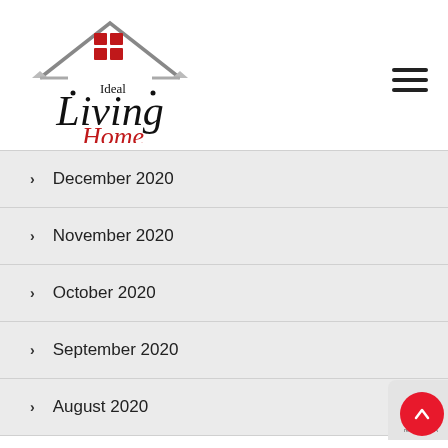[Figure (logo): Ideal Living Home logo with house roofline graphic, red window panes, black serif text 'Ideal Living' and red italic 'Home']
> December 2020
> November 2020
> October 2020
> September 2020
> August 2020